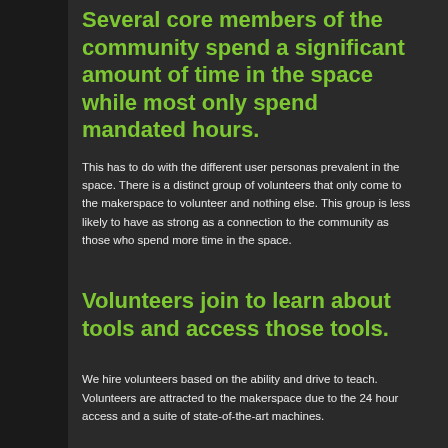Several core members of the community spend a significant amount of time in the space while most only spend mandated hours.
This has to do with the different user personas prevalent in the space. There is a distinct group of volunteers that only come to the makerspace to volunteer and nothing else. This group is less likely to have as strong as a connection to the community as those who spend more time in the space.
Volunteers join to learn about tools and access those tools.
We hire volunteers based on the ability and drive to teach. Volunteers are attracted to the makerspace due to the 24 hour access and a suite of state-of-the-art machines.